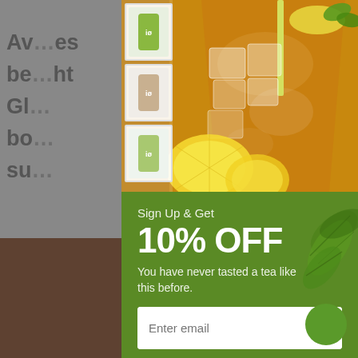Av…es
be…ht
Gl…
bo…
su…
[Figure (photo): Background blurred webpage with product text and images]
[Figure (photo): Popup modal overlay showing iced tea in a glass with lemon slices, product thumbnails on left side, and a green promotional section below]
Sign Up & Get
10% OFF
You have never tasted a tea like this before.
Enter email